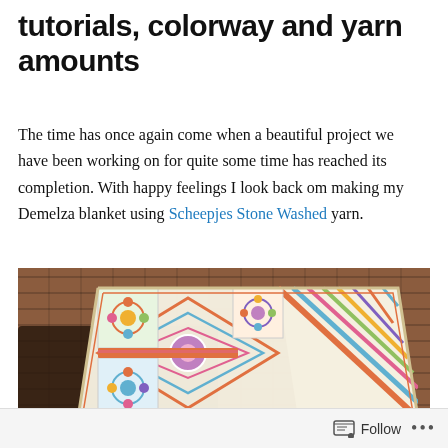tutorials, colorway and yarn amounts
The time has once again come when a beautiful project we have been working on for quite some time has reached its completion. With happy feelings I look back om making my Demelza blanket using Scheepjes Stone Washed yarn.
[Figure (photo): A colorful crocheted blanket draped over a dark wooden bench against a brick wall background. The blanket features a patchwork of squares with floral motifs and diagonal stripe patterns in multicolors including blue, pink, orange, green, yellow, and purple.]
Follow ...